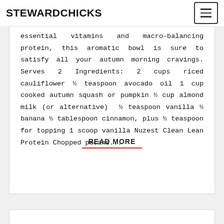STEWARDCHICKS
essential vitamins and macro-balancing protein, this aromatic bowl is sure to satisfy all your autumn morning cravings. Serves 2 Ingredients: 2 cups riced cauliflower ½ teaspoon avocado oil 1 cup cooked autumn squash or pumpkin ½ cup almond milk (or alternative) ½ teaspoon vanilla ½ banana ½ tablespoon cinnamon, plus ½ teaspoon for topping 1 scoop vanilla Nuzest Clean Lean Protein Chopped pecans...
READ MORE